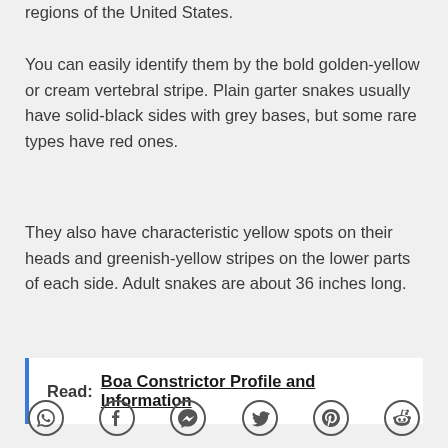regions of the United States.
You can easily identify them by the bold golden-yellow or cream vertebral stripe. Plain garter snakes usually have solid-black sides with grey bases, but some rare types have red ones.
They also have characteristic yellow spots on their heads and greenish-yellow stripes on the lower parts of each side. Adult snakes are about 36 inches long.
Read:  Boa Constrictor Profile and Information
[Figure (other): Row of social media share icons: WhatsApp, Facebook, Messenger, Twitter, Pinterest, Reddit]